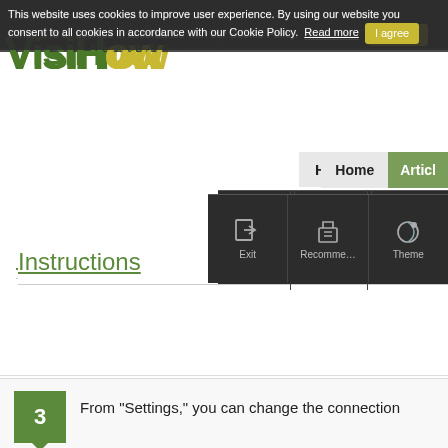This website uses cookies to improve user experience. By using our website you consent to all cookies in accordance with our Cookie Policy. Read more  I agree
[Figure (logo): VisiHow logo - 'See it. Do it.' tagline with green 'VisiH' and yellow 'ow' text]
Home  Articles
[Figure (screenshot): Dark toolbar with Exit, Recommend..., Theme icons]
Instructions
3  From "Settings," you can change the connection
4  You can also set the "Root Directory" to which you are connected.